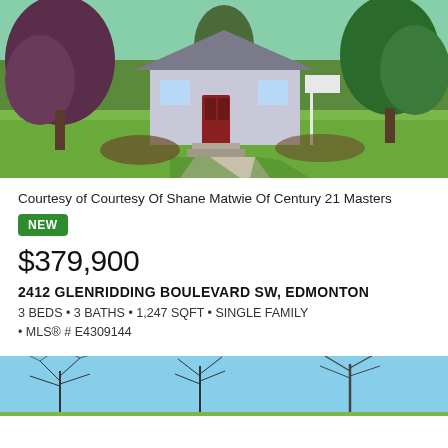[Figure (photo): Exterior front view of a single-family home with green lawn, walkway, and trees with purple/red and green foliage]
Courtesy of Courtesy Of Shane Matwie Of Century 21 Masters
NEW
$379,900
2412 GLENRIDDING BOULEVARD SW, EDMONTON
3 BEDS • 3 BATHS • 1,247 SQFT • SINGLE FAMILY • MLS® # E4309144
[Figure (photo): Exterior view of property with bare trees and blue sky in background]